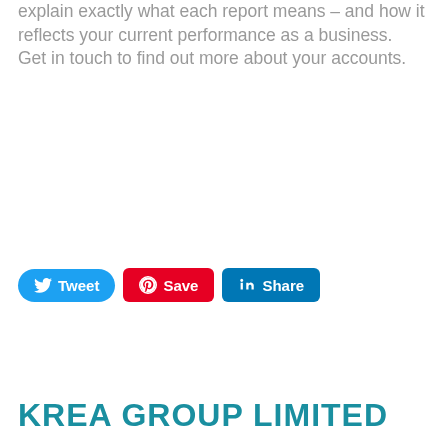explain exactly what each report means – and how it reflects your current performance as a business.
Get in touch to find out more about your accounts.
[Figure (other): Social sharing buttons: Tweet (Twitter/blue), Save (Pinterest/red), Share (LinkedIn/blue)]
KREA GROUP LIMITED